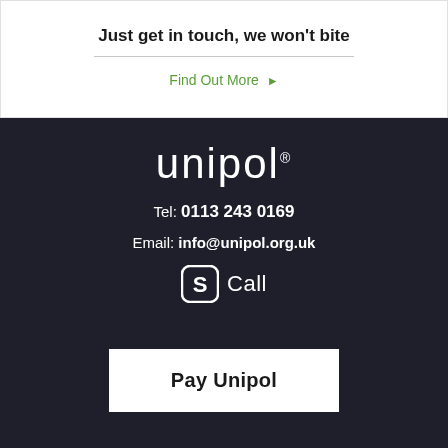Just get in touch, we won't bite
Find Out More ▶
[Figure (logo): Unipol logo with registered trademark symbol in white text on dark background]
Tel: 0113 243 0169
Email: info@unipol.org.uk
[Figure (logo): Skype icon (S in rounded square) followed by text 'Call']
Pay Unipol